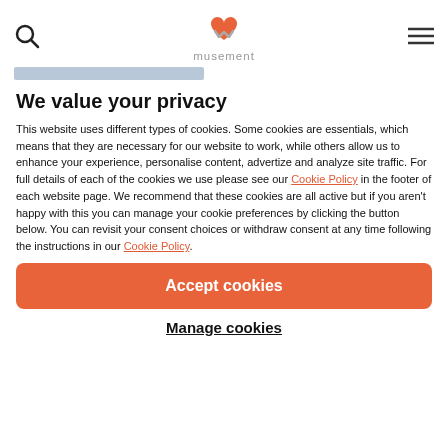[Figure (logo): Musement logo with orange heart and grey M shape, and text 'musement' below]
We value your privacy
This website uses different types of cookies. Some cookies are essentials, which means that they are necessary for our website to work, while others allow us to enhance your experience, personalise content, advertize and analyze site traffic. For full details of each of the cookies we use please see our Cookie Policy in the footer of each website page. We recommend that these cookies are all active but if you aren't happy with this you can manage your cookie preferences by clicking the button below. You can revisit your consent choices or withdraw consent at any time following the instructions in our Cookie Policy.
Accept cookies
Manage cookies